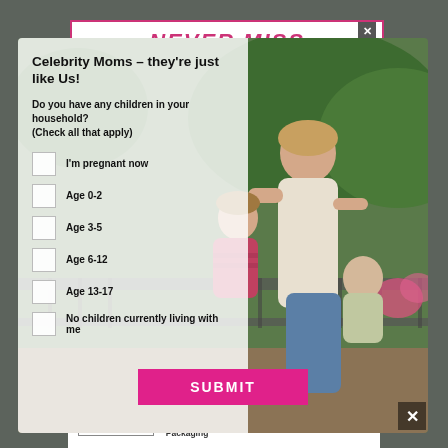NEVER MISS
Celebrity Moms – they're just like Us!
Do you have any children in your household? (Check all that apply)
I'm pregnant now
Age 0-2
Age 3-5
Age 6-12
Age 13-17
No children currently living with me
SUBMIT
SHOP NOW
Sustainable Packaging